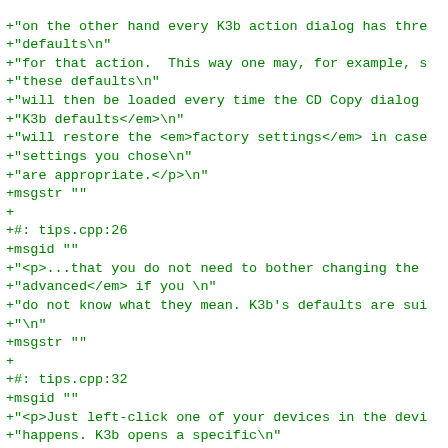source code / diff patch showing gettext PO file additions with green-colored text